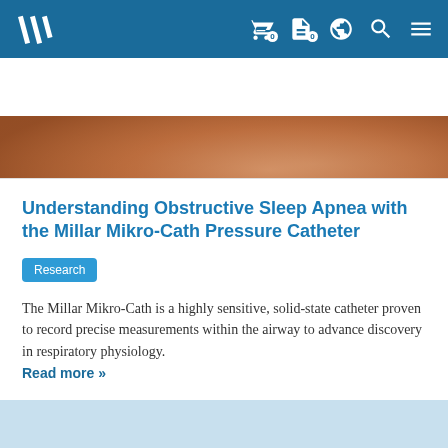Millar navigation bar with logo and icons (cart, document, globe, search, menu)
[Figure (photo): Close-up photo of a person's shoulder/skin area, warm brown skin tones]
Understanding Obstructive Sleep Apnea with the Millar Mikro-Cath Pressure Catheter
Research
The Millar Mikro-Cath is a highly sensitive, solid-state catheter proven to record precise measurements within the airway to advance discovery in respiratory physiology.
Read more »